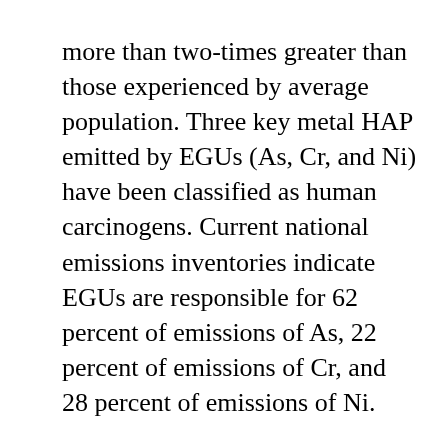more than two-times greater than those experienced by average population. Three key metal HAP emitted by EGUs (As, Cr, and Ni) have been classified as human carcinogens. Current national emissions inventories indicate EGUs are responsible for 62 percent of emissions of As, 22 percent of emissions of Cr, and 28 percent of emissions of Ni.
Does the analysis adequately assess uncertainty about the outcomes? EPA acknowledges and summarizes in RIA 3 uncertainties regarding costs and 12 major uncertainties regarding benefits on